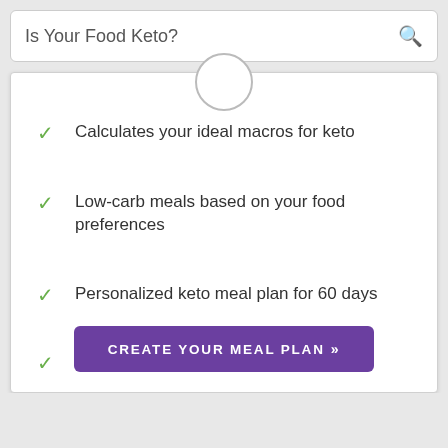Is Your Food Keto?
Calculates your ideal macros for keto
Low-carb meals based on your food preferences
Personalized keto meal plan for 60 days
Step-by-step recipe instructions
Downloadable grocery list for the next 7 days
CREATE YOUR MEAL PLAN >>